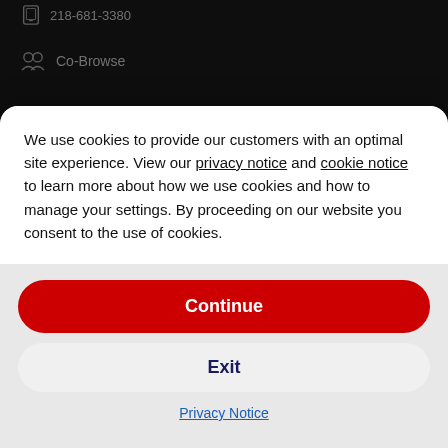218-681-3380
Co-Browse
ECIA Member
[Figure (logo): SecureTrust Trusted Commerce Click to Validate badge with green border]
FOLLOW US
[Figure (screenshot): Cookie consent modal overlay with privacy notice text, Continue button (red), Exit button (white), and Privacy Notice link]
We use cookies to provide our customers with an optimal site experience. View our privacy notice and cookie notice to learn more about how we use cookies and how to manage your settings. By proceeding on our website you consent to the use of cookies.
Continue
Exit
Privacy Notice